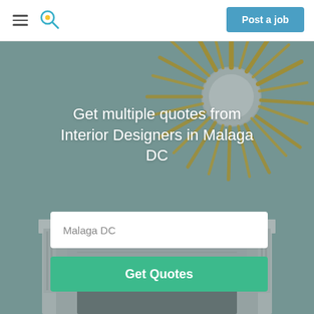Post a job
[Figure (photo): Background photo of a decorative golden sunburst mirror on a wall above a white fireplace mantel, with teal/gray tones throughout the room.]
Get multiple quotes from Interior Designers in Malaga DC
Malaga DC
Get Quotes